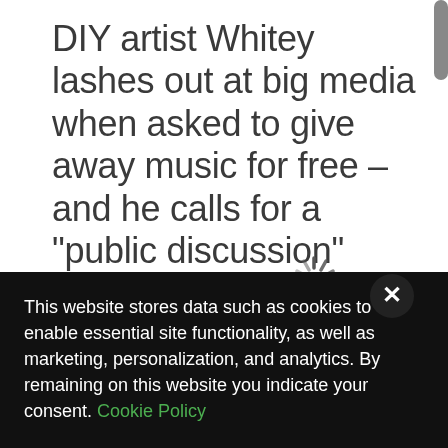DIY artist Whitey lashes out at big media when asked to give away music for free – and he calls for a "public discussion"
It's
co
mp
elli
ng
whe
[Figure (other): Loading spinner icon]
This website stores data such as cookies to enable essential site functionality, as well as marketing, personalization, and analytics. By remaining on this website you indicate your consent. Cookie Policy